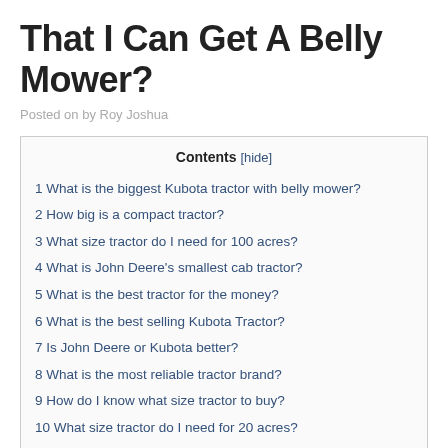That I Can Get A Belly Mower?
Posted on by Roy Joshua
| Contents [hide] |
| --- |
| 1 What is the biggest Kubota tractor with belly mower? |
| 2 How big is a compact tractor? |
| 3 What size tractor do I need for 100 acres? |
| 4 What is John Deere's smallest cab tractor? |
| 5 What is the best tractor for the money? |
| 6 What is the best selling Kubota Tractor? |
| 7 Is John Deere or Kubota better? |
| 8 What is the most reliable tractor brand? |
| 9 How do I know what size tractor to buy? |
| 10 What size tractor do I need for 20 acres? |
| 11 What size Kubota do I need for 5 acres? |
| 12 What size tractor do I need to mow 50 acres? |